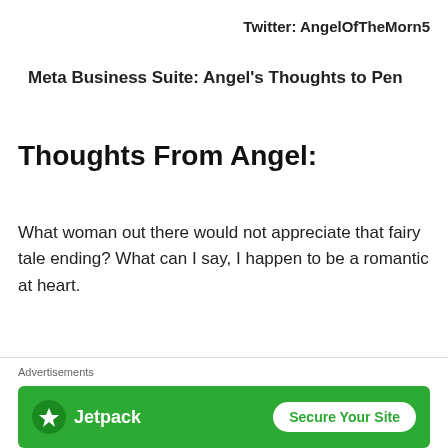Twitter: AngelOfTheMorn5
Meta Business Suite: Angel's Thoughts to Pen
Thoughts From Angel:
What woman out there would not appreciate that fairy tale ending? What can I say, I happen to be a romantic at heart.
If you appreciate what I do and would like to support
[Figure (other): Red LIKE button with thumbs-up icon and a partially visible red SHARE button below it]
[Figure (other): Advertisements bar: Jetpack logo with 'Secure Your Site' button on green background]